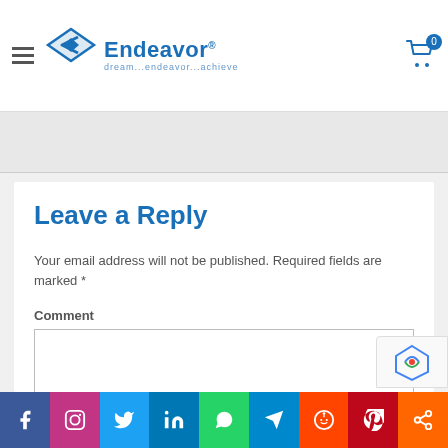Endeavor — dream...endeavor...achieve
Leave a Reply
Your email address will not be published. Required fields are marked *
Comment
Facebook | Instagram | Twitter | LinkedIn | WhatsApp | Telegram | Reddit | Pinterest | Share